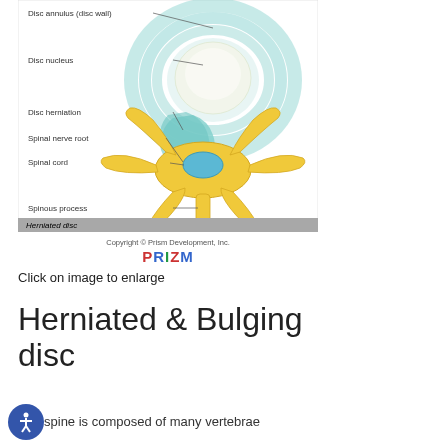[Figure (illustration): Medical illustration of a herniated disc showing a top-down cross-section of a vertebra with labeled parts: Disc annulus (disc wall), Disc nucleus, Disc herniation, Spinal nerve root, Spinal cord, Spinous process. The disc annulus is shown in teal/blue concentric rings at top, the disc nucleus as a white oval, disc herniation as blue pressing material, and the vertebra body in yellow. A gray bar at the bottom reads 'Herniated disc'.]
Copyright © Prism Development, Inc. PRIZM
Click on image to enlarge
Herniated & Bulging disc
The spine is composed of many vertebrae